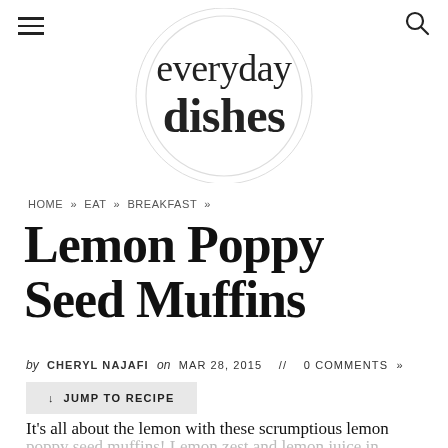everyday dishes
HOME » EAT » BREAKFAST »
Lemon Poppy Seed Muffins
by CHERYL NAJAFI on MAR 28, 2015 // 0 COMMENTS »
↓ JUMP TO RECIPE
It's all about the lemon with these scrumptious lemon poppy seed muffins! Lemon zest and lemon juice in